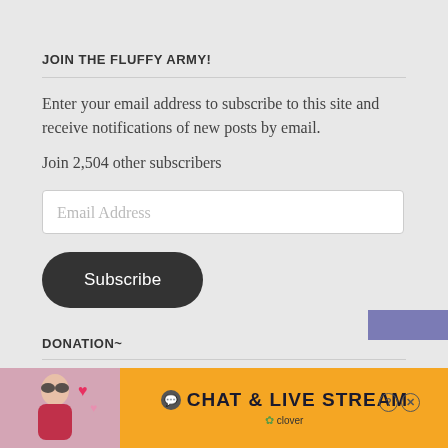JOIN THE FLUFFY ARMY!
Enter your email address to subscribe to this site and receive notifications of new posts by email.
Join 2,504 other subscribers
Email Address
Subscribe
DONATION~
Make A Donation
[Figure (photo): Advertisement banner at bottom showing a woman at a beach with hearts, and text CHAT & LIVE STREAM with clover logo]